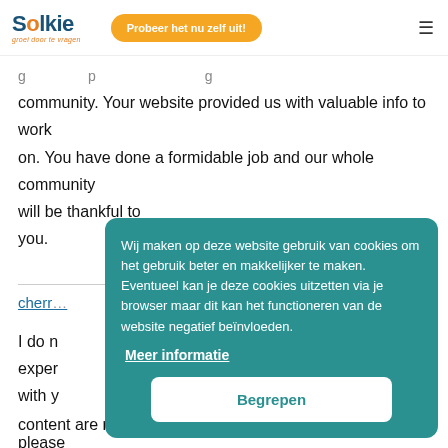Solkie — groei door te vragen | Probeer het nu zelf uit! | menu
...g p community. Your website provided us with valuable info to work on. You have done a formidable job and our whole community will be thankful to you.
chern... 3
I do n... exper... with y...
content are running off the screen. Can somebody else please
[Figure (screenshot): Cookie consent overlay popup with teal background. Text in Dutch: 'Wij maken op deze website gebruik van cookies om het gebruik beter en makkelijker te maken. Eventueel kan je deze cookies uitzetten via je browser maar dit kan het functioneren van de website negatief beïnvloeden.' Link: 'Meer informatie'. Button: 'Begrepen']